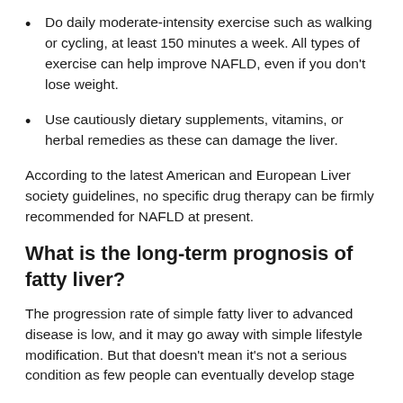Do daily moderate-intensity exercise such as walking or cycling, at least 150 minutes a week. All types of exercise can help improve NAFLD, even if you don't lose weight.
Use cautiously dietary supplements, vitamins, or herbal remedies as these can damage the liver.
According to the latest American and European Liver society guidelines, no specific drug therapy can be firmly recommended for NAFLD at present.
What is the long-term prognosis of fatty liver?
The progression rate of simple fatty liver to advanced disease is low, and it may go away with simple lifestyle modification. But that doesn't mean it's not a serious condition as few people can eventually develop stage